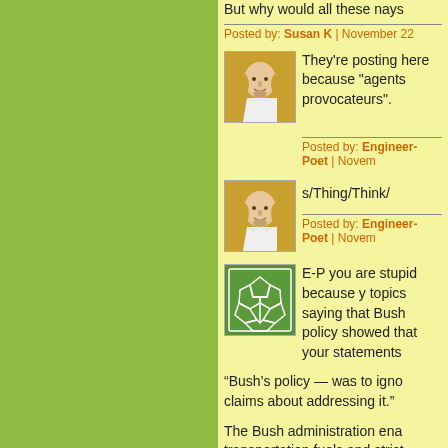But why would all these nays
Posted by: Susan K | November 22
[Figure (illustration): Shakespeare portrait avatar with gold background]
They're posting here because "agents provocateurs".
Posted by: Engineer-Poet | Novem
[Figure (illustration): Shakespeare portrait avatar with gold background]
s/Thing/Think/
Posted by: Engineer-Poet | Novem
[Figure (illustration): Green soccer ball pattern avatar]
E-P you are stupid because y topics saying that Bush policy showed that your statements
“Bush’s policy — was to igno claims about addressing it.”
The Bush administration ena transportation fuels and strict